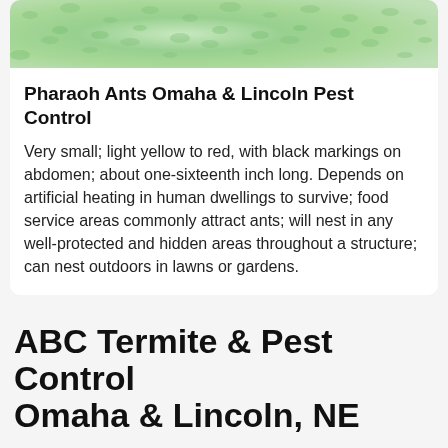[Figure (photo): Close-up photo of green grass or turf texture, light green color]
Pharaoh Ants Omaha & Lincoln Pest Control
Very small; light yellow to red, with black markings on abdomen; about one-sixteenth inch long. Depends on artificial heating in human dwellings to survive; food service areas commonly attract ants; will nest in any well-protected and hidden areas throughout a structure; can nest outdoors in lawns or gardens.
ABC Termite & Pest Control Omaha & Lincoln, NE